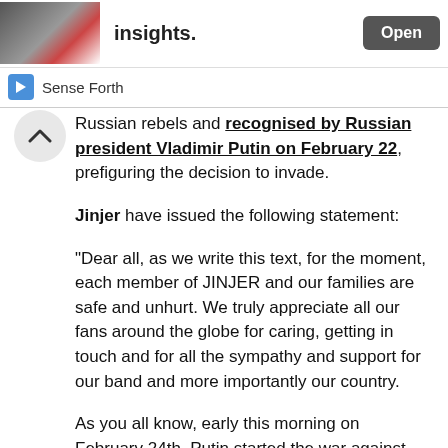[Figure (screenshot): App advertisement banner showing an image on the left and bold text 'insights.' on the right with an 'Open' button]
Sense Forth
Russian rebels and recognised by Russian president Vladimir Putin on February 22, prefiguring the decision to invade.
Jinjer have issued the following statement:
“Dear all, as we write this text, for the moment, each member of JINJER and our families are safe and unhurt. We truly appreciate all our fans around the globe for caring, getting in touch and for all the sympathy and support for our band and more importantly our country.
As you all know, early this morning on February 24th, Putin started the war against the sovereign and independent #ukraine ! Please know that in this time we really depend on you, our fans in every country – to support Ukriane and peace in our country however you